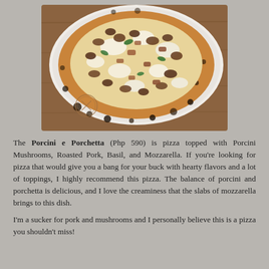[Figure (photo): Close-up photo of a Neapolitan-style pizza topped with porcini mushrooms, roasted pork (porchetta), basil leaves, and melted mozzarella on a charred crust, served on a white plate on a wooden board. A circular restaurant logo stamp is visible in the lower left of the image.]
The Porcini e Porchetta (Php 590) is pizza topped with Porcini Mushrooms, Roasted Pork, Basil, and Mozzarella. If you're looking for pizza that would give you a bang for your buck with hearty flavors and a lot of toppings, I highly recommend this pizza. The balance of porcini and porchetta is delicious, and I love the creaminess that the slabs of mozzarella brings to this dish.
I'm a sucker for pork and mushrooms and I personally believe this is a pizza you shouldn't miss!